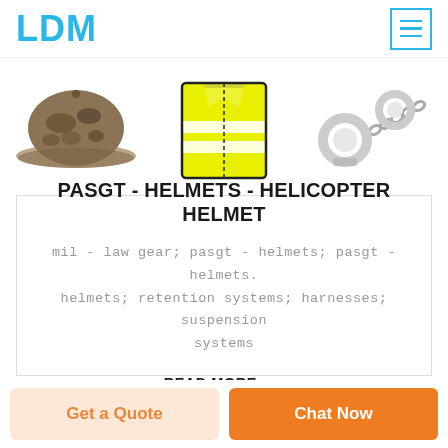LDM
[Figure (photo): Three product images: a camouflage cap, a yellow high-visibility safety vest, and handcuffs with chain]
PASGT - HELMETS - HELICOPTER HELMET
mil - law gear; pasgt - helmets; pasgt - helmets. helmets; retention systems; harnesses; suspension systems
READ MORE →
Get a Quote
Chat Now